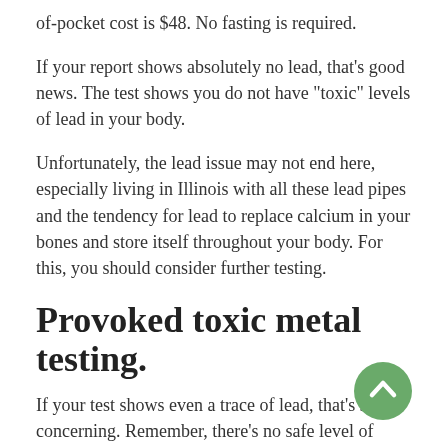of-pocket cost is $48. No fasting is required.
If your report shows absolutely no lead, that’s good news. The test shows you do not have “toxic” levels of lead in your body.
Unfortunately, the lead issue may not end here, especially living in Illinois with all these lead pipes and the tendency for lead to replace calcium in your bones and store itself throughout your body. For this, you should consider further testing.
Provoked toxic metal testing.
If your test shows even a trace of lead, that’s still concerning. Remember, there’s no safe level of lead.
[Figure (other): Green circular scroll-to-top button with upward chevron arrow icon]